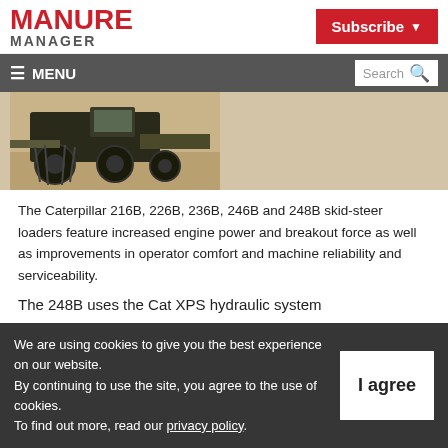MANURE MANAGER
Subscribe | MENU | Search
[Figure (photo): Partial view of a Caterpillar skid-steer loader or tractor on a flat surface, showing wheels and equipment.]
The Caterpillar 216B, 226B, 236B, 246B and 248B skid-steer loaders feature increased engine power and breakout force as well as improvements in operator comfort and machine reliability and serviceability.
The 248B uses the Cat XPS hydraulic system
We are using cookies to give you the best experience on our website.
By continuing to use the site, you agree to the use of cookies.
To find out more, read our privacy policy.